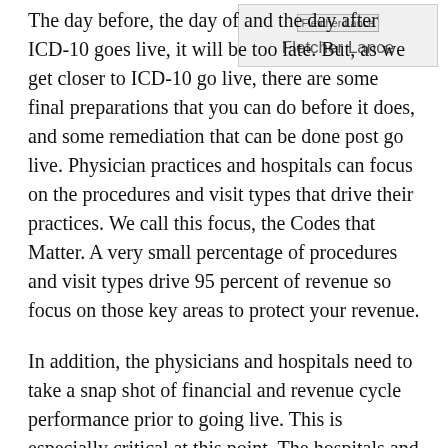[Figure (other): Author photo placeholder with text 'Fletcher Lance' and author name 'Fletcher Lance' below]
The day before, the day of and the day after ICD-10 goes live, it will be too late. But, as we get closer to ICD-10 go live, there are some final preparations that you can do before it does, and some remediation that can be done post go live. Physician practices and hospitals can focus on the procedures and visit types that drive their practices. We call this focus, the Codes that Matter. A very small percentage of procedures and visit types drive 95 percent of revenue so focus on those key areas to protect your revenue.
In addition, the physicians and hospitals need to take a snap shot of financial and revenue cycle performance prior to going live. This is especially critical at this point. The hospitals and physician practices have to